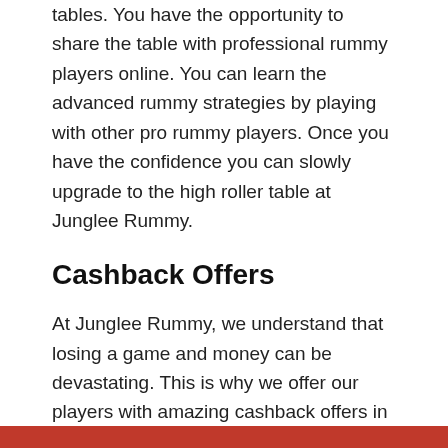tables. You have the opportunity to share the table with professional rummy players online. You can learn the advanced rummy strategies by playing with other pro rummy players. Once you have the confidence you can slowly upgrade to the high roller table at Junglee Rummy.
Cashback Offers
At Junglee Rummy, we understand that losing a game and money can be devastating. This is why we offer our players with amazing cashback offers in online rummy games. This somehow helps to reduce the impact of losing a game. We have cashback offers every week. Also, the incredible bonus and promotions give you the